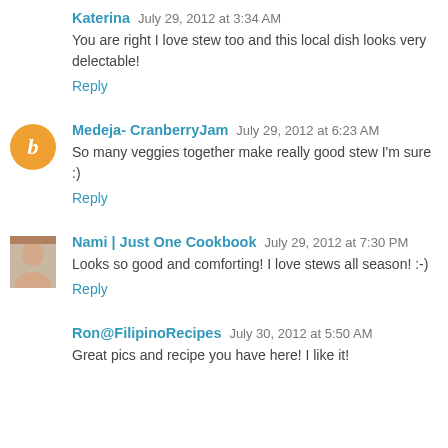Katerina July 29, 2012 at 3:34 AM
You are right I love stew too and this local dish looks very delectable!
Reply
Medeja- CranberryJam July 29, 2012 at 6:23 AM
So many veggies together make really good stew I'm sure :)
Reply
Nami | Just One Cookbook July 29, 2012 at 7:30 PM
Looks so good and comforting! I love stews all season! :-)
Reply
Ron@FilipinoRecipes July 30, 2012 at 5:50 AM
Great pics and recipe you have here! I like it!